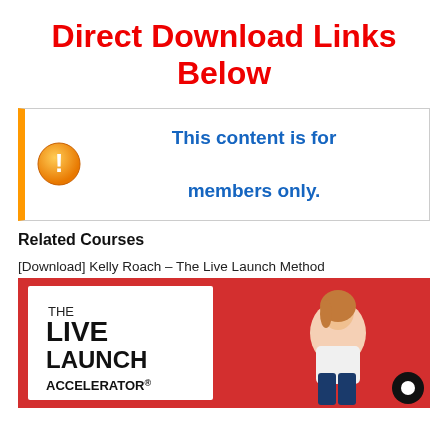Direct Download Links Below
[Figure (infographic): Orange warning icon circle with exclamation mark, next to blue bold text 'This content is for members only.' inside a box with orange left border.]
Related Courses
[Download] Kelly Roach – The Live Launch Method
[Figure (photo): Banner image for 'The Live Launch Accelerator' course featuring a woman sitting against a red background, with white text logo on the left.]